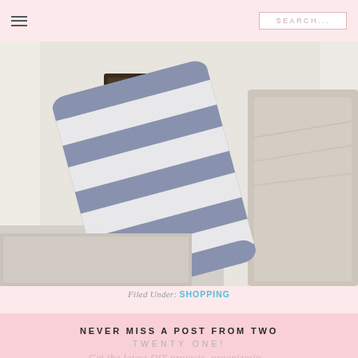≡  SEARCH...
[Figure (photo): Bedroom scene with a blue and white striped pillow leaning against a linen sofa or headboard, with a dark wood nightstand visible in the background and white curtains.]
Filed Under: SHOPPING
NEVER MISS A POST FROM TWO TWENTY ONE!
Get the latest DIY projects, organizatio...